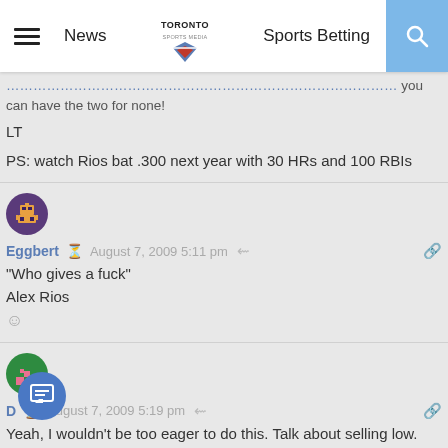News | Toronto Sports Media | Sports Betting
you can have the two for none!
LT
PS: watch Rios bat .300 next year with 30 HRs and 100 RBIs
[Figure (illustration): Pixel art robot avatar for user Eggbert]
Eggbert  August 7, 2009 5:11 pm
"Who gives a fuck"
Alex Rios
☺
[Figure (illustration): Green and pink pixel art avatar for user D]
D  August 7, 2009 5:19 pm
Yeah, I wouldn't be too eager to do this. Talk about selling low. He's